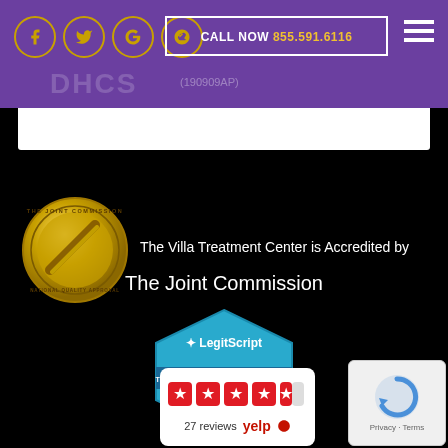CALL NOW 855.591.6116
DHCS (190909AP)
The Villa Treatment Center is Accredited by The Joint Commission
[Figure (logo): The Joint Commission gold seal / National Quality Approval medallion]
[Figure (logo): LegitScript Certified badge: THEVILLATREATMENTCENTER.COM 08/22/22]
[Figure (logo): Yelp 4.5 stars, 27 reviews]
[Figure (logo): Google reCAPTCHA widget with Privacy · Terms]